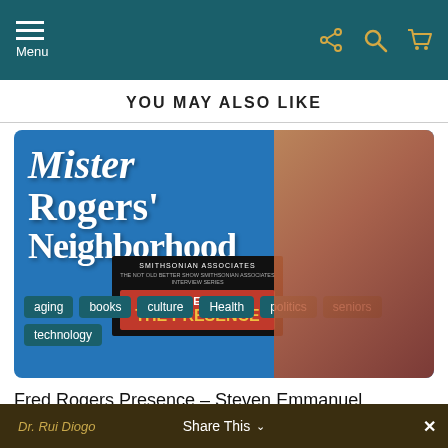Menu (navigation bar with share, search, cart icons)
YOU MAY ALSO LIKE
[Figure (screenshot): Promotional image for Mister Rogers' Neighborhood featuring Fred Rogers with a puppet bear, overlaid with a Smithsonian Associates event poster for Steven Emmanuel 'The Presence', and tags: aging, books, culture, Health, politics, seniors, technology]
Fred Rogers Presence – Steven Emmanuel
Share This ∨  ✕  Dr. Rui Diogo